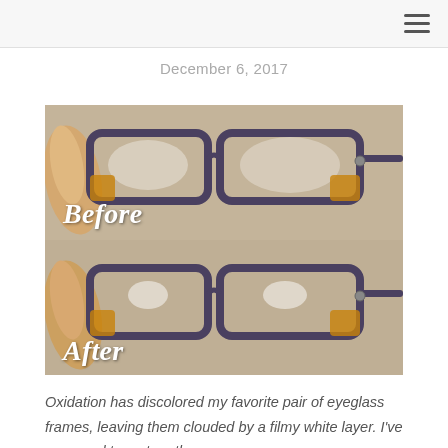≡
December 6, 2017
[Figure (photo): Before and after comparison photo of eyeglasses frames. Top half labeled 'Before' shows cloudy/oxidized lenses. Bottom half labeled 'After' shows clearer lenses. Frames are dark gray/purple rectangular style with orange accents. A hand holds the glasses on the left side.]
Oxidation has discolored my favorite pair of eyeglass frames, leaving them clouded by a filmy white layer. I've managed to restore the